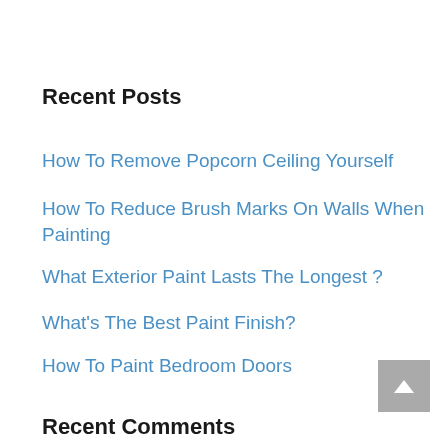Recent Posts
How To Remove Popcorn Ceiling Yourself
How To Reduce Brush Marks On Walls When Painting
What Exterior Paint Lasts The Longest ?
What's The Best Paint Finish?
How To Paint Bedroom Doors
Recent Comments